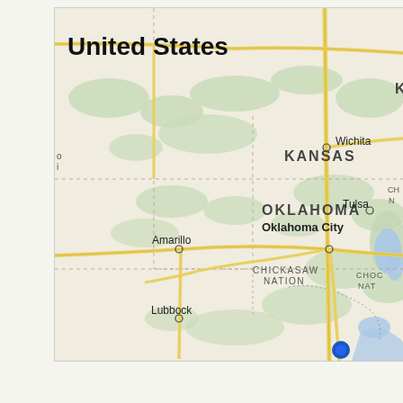[Figure (map): Road map of south-central United States showing Kansas, Oklahoma, and northern Texas. Features state labels, city markers for Wichita, Tulsa, Oklahoma City, Amarillo, and Lubbock. Shows tribal nations labeled CHICKASAW NATION and CHOCTAW NATION. Roads shown in yellow. Green areas indicate vegetation/terrain. Blue dot near bottom right. Title reads 'United States' at top left. Partial labels 'K' at top right and 'CH N' at right edge and 'o i' at left edge.]